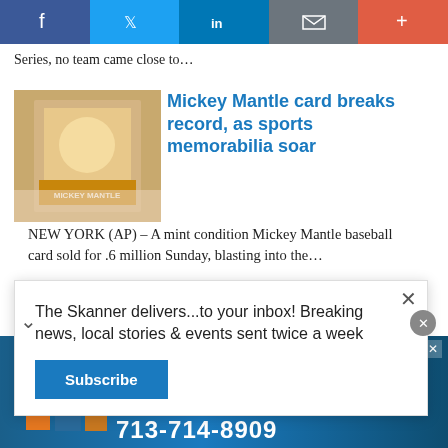f  [Twitter]  in  [Email]  +
Series, no team came close to…
Mickey Mantle card breaks record, as sports memorabilia soar
NEW YORK (AP) – A mint condition Mickey Mantle baseball card sold for .6 million Sunday, blasting into the…
[Figure (screenshot): Partial view of next article thumbnail and headline in blue]
The Skanner delivers...to your inbox! Breaking news, local stories & events sent twice a week
[Figure (infographic): Constant Staffing advertisement in Spanish: ESTAMOS CONTRATANDO, BILINGÜES, listing job types and phone number 713-714-8909]